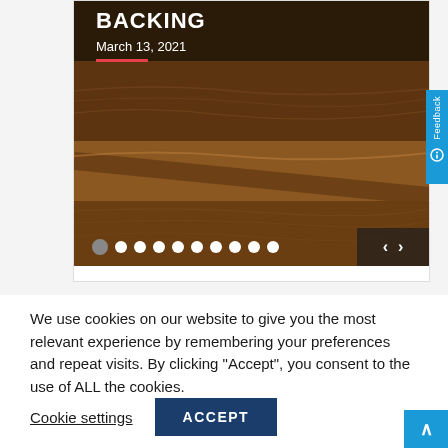[Figure (screenshot): A website screenshot showing a card with a desert sand dunes photo. The card has a title 'BACKING' and date 'March 13, 2021' overlaid on the image. Below the image are carousel navigation dots (one dark, nine white) and arrow buttons. A blue 'Feedback' sidebar tab is visible on the right edge.]
We use cookies on our website to give you the most relevant experience by remembering your preferences and repeat visits. By clicking "Accept", you consent to the use of ALL the cookies.
Cookie settings
ACCEPT